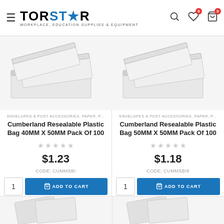[Figure (logo): TORSTAR logo with star icon and tagline WORKPLACE, EDUCATION SUPPLIES & EQUIPMENT]
[Figure (photo): Clear resealable plastic bags product photo - 40MM X 50MM]
ENVELOPES & POST ACCESSORIES, PAPER, P...
Cumberland Resealable Plastic Bag 40MM X 50MM Pack Of 100
$1.23
CODE: CUMMSBI
[Figure (photo): Clear resealable plastic bags product photo - 50MM X 50MM]
ENVELOPES & POST ACCESSORIES, PAPER, P...
Cumberland Resealable Plastic Bag 50MM X 50MM Pack Of 100
$1.18
CODE: CUMMSBI8